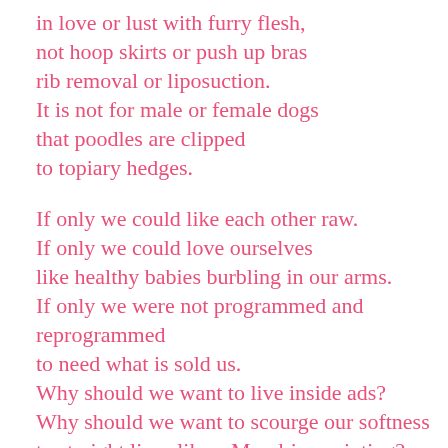in love or lust with furry flesh,
not hoop skirts or push up bras
rib removal or liposuction.
It is not for male or female dogs
that poodles are clipped
to topiary hedges.

If only we could like each other raw.
If only we could love ourselves
like healthy babies burbling in our arms.
If only we were not programmed and reprogrammed
to need what is sold us.
Why should we want to live inside ads?
Why should we want to scourge our softness
to straight lines like a Mondrian painting?
Why should we punish each other with scorn